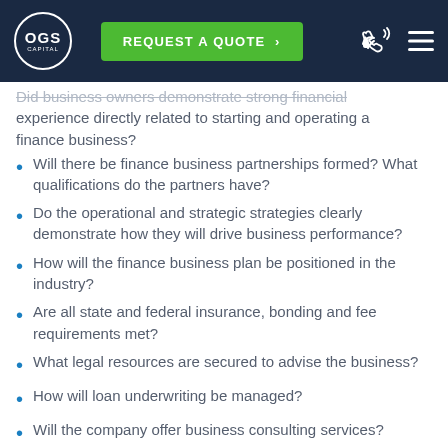OGS Capital — REQUEST A QUOTE
Did business owners demonstrate strong financial experience directly related to starting and operating a finance business?
Will there be finance business partnerships formed? What qualifications do the partners have?
Do the operational and strategic strategies clearly demonstrate how they will drive business performance?
How will the finance business plan be positioned in the industry?
Are all state and federal insurance, bonding and fee requirements met?
What legal resources are secured to advise the business?
How will loan underwriting be managed?
Will the company offer business consulting services?